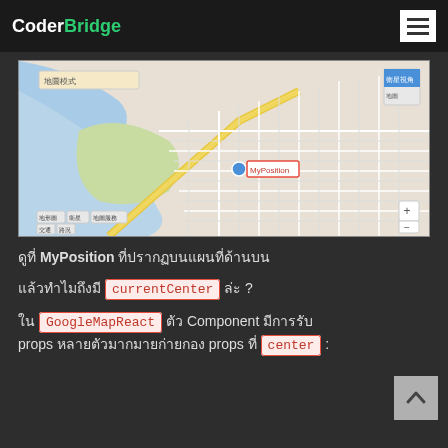CoderBridge
[Figure (map): Google Maps screenshot showing a city area in Asia with a MyPosition marker pin in the center of the map]
ดูที่ MyPosition ที่ปรากฏบนแผนที่ด้านบน
แล้วทำไมถึงมี currentCenter ล่ะ ?
ใน GoogleMapReact ตัว Component มีการรับ props หลายตัวมากมายก่ายกอง props ที่ center :